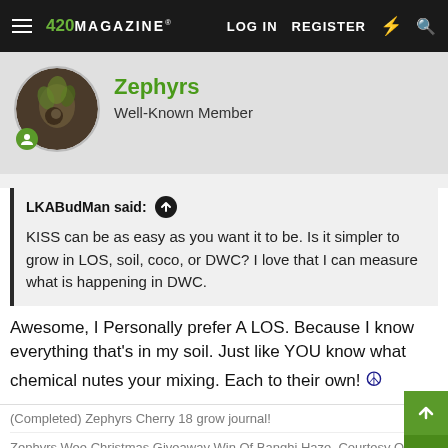420 MAGAZINE® | LOG IN | REGISTER
Zephyrs
Well-Known Member
LKABudMan said: ↑

KISS can be as easy as you want it to be. Is it simpler to grow in LOS, soil, coco, or DWC? I love that I can measure what is happening in DWC.
Awesome, I Personally prefer A LOS. Because I know everything that's in my soil. Just like YOU know what chemical nutes your mixing. Each to their own! ☮
(Completed) Zephyrs Cherry 18 grow journal!
Zephyrs Wee Christmas Giveaway Win Of Banghi Haze, Courtesy Of Vault, Co-Staring A Barneys Farm Runtz Muffin & A Stick Of Bubblegum